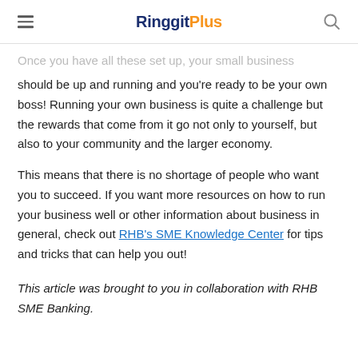RinggitPlus
Once you have all these set up, your small business should be up and running and you're ready to be your own boss! Running your own business is quite a challenge but the rewards that come from it go not only to yourself, but also to your community and the larger economy.
This means that there is no shortage of people who want you to succeed. If you want more resources on how to run your business well or other information about business in general, check out RHB's SME Knowledge Center for tips and tricks that can help you out!
This article was brought to you in collaboration with RHB SME Banking.